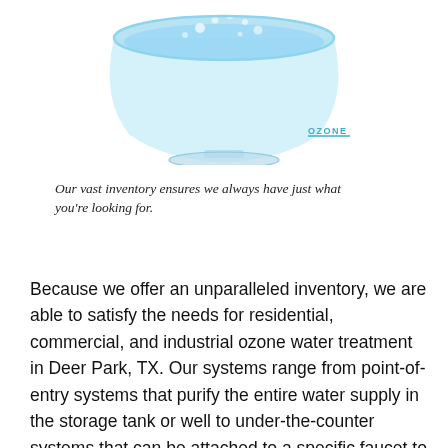[Figure (photo): A glass bowl/sphere filled with clear blue water and bubbles, shown from above, with an 'OZONE' brand label at bottom right with a blue underline]
Our vast inventory ensures we always have just what you're looking for.
Because we offer an unparalleled inventory, we are able to satisfy the needs for residential, commercial, and industrial ozone water treatment in Deer Park, TX. Our systems range from point-of-entry systems that purify the entire water supply in the storage tank or well to under-the-counter systems that can be attached to a specific faucet to have clean, purified water straight out of the tap. All of our purification systems comes ready to use including all needed parts to give you quick and immediate utilization of cleaner water. With our substantial selection, you can always find the equipment you need and have it quick.|Never stress about replacement equipment